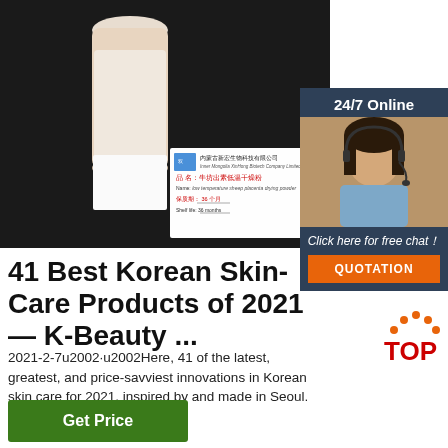[Figure (photo): Product photo: a bottle of white/cream colored liquid (sheep placenta powder) on a dark background, with a white product label showing Chinese text '内蒙古新宏生物科技有限公司', Inner Mongolia XinHong Biotech Company Limited, product name in Chinese, Name: low temperature sheep placenta drying powder, shelf life 36 months]
[Figure (photo): Customer service chat widget: dark blue box with '24/7 Online' text, photo of a smiling woman with headset, 'Click here for free chat!' italic text, and orange QUOTATION button]
41 Best Korean Skin-Care Products of 2021 — K-Beauty ...
2021-2-7u2002·u2002Here, 41 of the latest, greatest, and price-savviest innovations in Korean skin care for 2021, inspired by and made in Seoul. We guarantee you'll want ...
[Figure (logo): TOP logo with orange dots arranged in arc above red TOP text]
Get Price